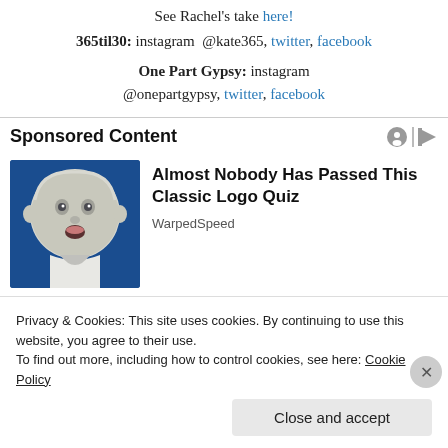See Rachel's take here!
365til30: instagram @kate365, twitter, facebook
One Part Gypsy: instagram @onepartgypsy, twitter, facebook
Sponsored Content
[Figure (illustration): Baby face illustration (Gerber baby style) on blue background]
Almost Nobody Has Passed This Classic Logo Quiz
WarpedSpeed
Privacy & Cookies: This site uses cookies. By continuing to use this website, you agree to their use.
To find out more, including how to control cookies, see here: Cookie Policy
Close and accept